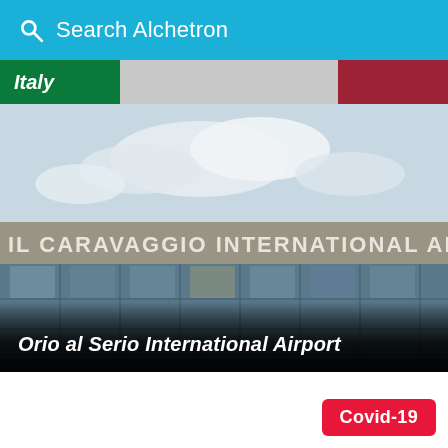Search Alchetron
Italy
[Figure (photo): Exterior facade of Il Caravaggio International Airport (Orio al Serio International Airport) showing the building sign reading 'IL CARAVAGGIO  INTERNATIONAL  AIRP' across the top of the terminal with large glass windows and concrete pillars below.]
Orio al Serio International Airport
Covid-19